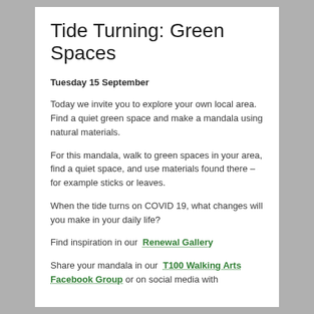Tide Turning: Green Spaces
Tuesday 15 September
Today we invite you to explore your own local area. Find a quiet green space and make a mandala using natural materials.
For this mandala, walk to green spaces in your area, find a quiet space, and use materials found there – for example sticks or leaves.
When the tide turns on COVID 19, what changes will you make in your daily life?
Find inspiration in our Renewal Gallery
Share your mandala in our T100 Walking Arts Facebook Group or on social media with